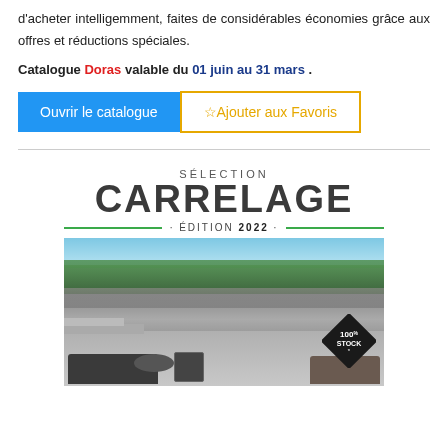d'acheter intelligemment, faites de considérables économies grâce aux offres et réductions spéciales.
Catalogue Doras valable du 01 juin au 31 mars .
[Figure (screenshot): Two UI buttons: blue 'Ouvrir le catalogue' button and outlined yellow '☆Ajouter aux Favoris' button]
[Figure (illustration): Catalogue cover for 'Sélection Carrelage Édition 2022' showing an outdoor patio/terrace with stone wall, greenery, lounge furniture, and a diamond badge reading '100% STOCK*']